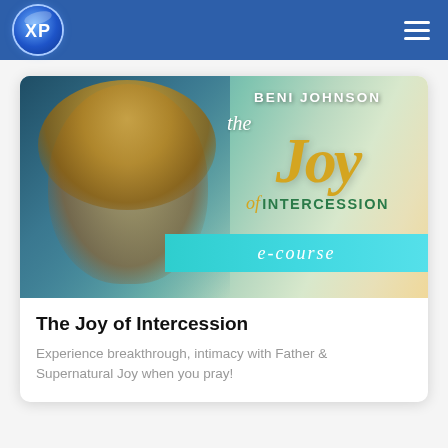XP (logo) — navigation header with hamburger menu
[Figure (photo): Promotional banner for 'Beni Johnson: The Joy of Intercession e-course'. Shows a smiling woman with curly blonde hair and glasses on the left, with course title text on the right against a gradient background. An 'e-course' ribbon appears at the bottom right.]
The Joy of Intercession
Experience breakthrough, intimacy with Father & Supernatural Joy when you pray!